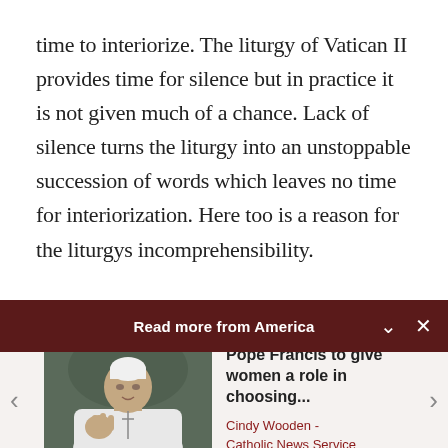time to interiorize. The liturgy of Vatican II provides time for silence but in practice it is not given much of a chance. Lack of silence turns the liturgy into an unstoppable succession of words which leaves no time for interiorization. Here too is a reason for the liturgys incomprehensibility.
Read more from America
[Figure (photo): Photo of Pope Francis in white vestments, gesturing with his hand]
Pope Francis to give women a role in choosing...
Cindy Wooden - Catholic News Service